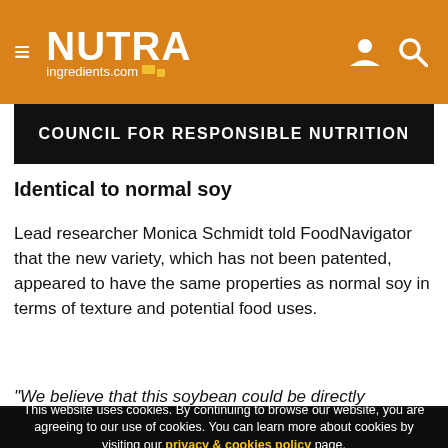NUTRAingredients.com
[Figure (other): Council for Responsible Nutrition banner image with white text on black background]
Identical to normal soy
Lead researcher Monica Schmidt told FoodNavigator that the new variety, which has not been patented, appeared to have the same properties as normal soy in terms of texture and potential food uses.
“We believe that this soybean could be directly employed in any
This website uses cookies. By continuing to browse our website, you are agreeing to our use of cookies. You can learn more about cookies by visiting our privacy & cookies policy page.